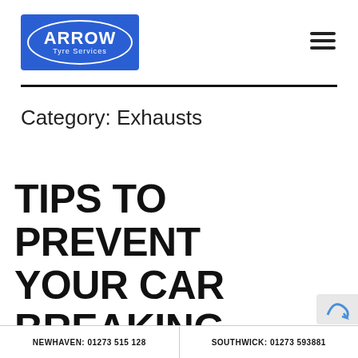[Figure (logo): Arrow Tyre Services logo: blue rectangle with white oval border containing bold white text 'ARROW' and smaller text 'Tyre Services']
[Figure (other): Hamburger menu icon: three horizontal black lines]
Category: Exhausts
TIPS TO PREVENT YOUR CAR BREAKING DOWN IN THE HEAT
NEWHAVEN: 01273 515 128   SOUTHWICK: 01273 593881